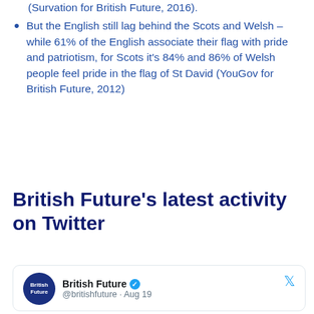(Survation for British Future, 2016).
But the English still lag behind the Scots and Welsh – while 61% of the English associate their flag with pride and patriotism, for Scots it's 84% and 86% of Welsh people feel pride in the flag of St David (YouGov for British Future, 2012)
British Future's latest activity on Twitter
[Figure (screenshot): Twitter/X card showing British Future account: @britishfuture · Aug 19, with verified checkmark and Twitter bird icon]